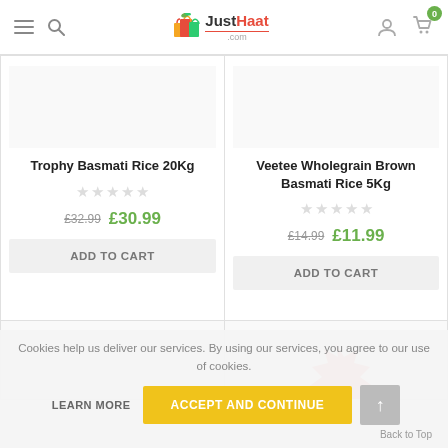JustHaat.com navigation header
Trophy Basmati Rice 20Kg
£32.99  £30.99
ADD TO CART
Veetee Wholegrain Brown Basmati Rice 5Kg
£14.99  £11.99
ADD TO CART
Cookies help us deliver our services. By using our services, you agree to our use of cookies.
LEARN MORE
ACCEPT AND CONTINUE
Back to Top